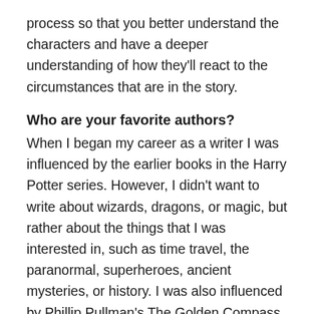process so that you better understand the characters and have a deeper understanding of how they'll react to the circumstances that are in the story.
Who are your favorite authors?
When I began my career as a writer I was influenced by the earlier books in the Harry Potter series. However, I didn't want to write about wizards, dragons, or magic, but rather about the things that I was interested in, such as time travel, the paranormal, superheroes, ancient mysteries, or history. I was also influenced by Phillip Pullman's The Golden Compass, The Subtle Knife, and The Amber Spyglass, along with some other excellent fantasy and science fiction works.